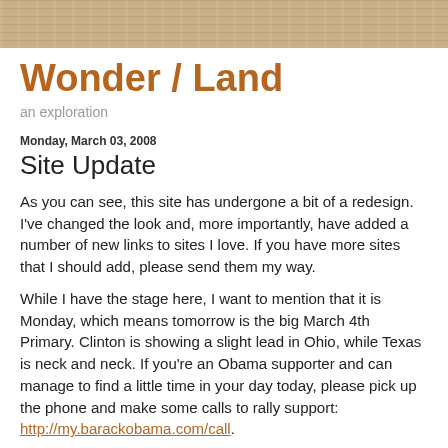[Figure (photo): Wood plank texture header image in tan/brown tones]
Wonder / Land
an exploration
Monday, March 03, 2008
Site Update
As you can see, this site has undergone a bit of a redesign. I've changed the look and, more importantly, have added a number of new links to sites I love. If you have more sites that I should add, please send them my way.
While I have the stage here, I want to mention that it is Monday, which means tomorrow is the big March 4th Primary. Clinton is showing a slight lead in Ohio, while Texas is neck and neck. If you're an Obama supporter and can manage to find a little time in your day today, please pick up the phone and make some calls to rally support: http://my.barackobama.com/call.